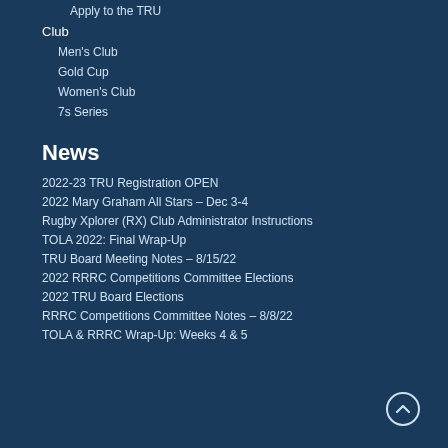Apply to the TRU
Club
Men's Club
Gold Cup
Women's Club
7s Series
News
2022-23 TRU Registration OPEN
2022 Mary Graham All Stars – Dec 3-4
Rugby Xplorer (RX) Club Administrator Instructions
TOLA 2022: Final Wrap-Up
TRU Board Meeting Notes – 8/15/22
2022 RRRC Competitions Committee Elections
2022 TRU Board Elections
RRRC Competitions Committee Notes – 8/8/22
TOLA & RRRC Wrap-Up: Weeks 4 & 5